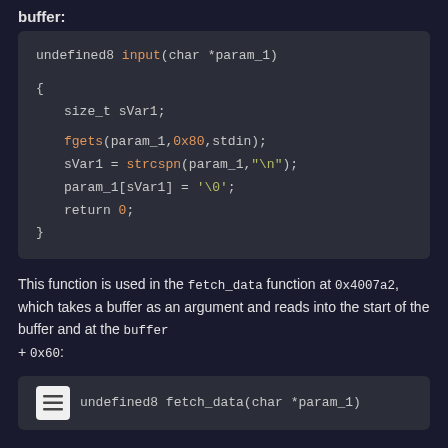buffer:
[Figure (screenshot): Dark-themed code block showing C function: undefined8 input(char *param_1) with body declaring size_t sVar1, calling fgets(param_1,0x80,stdin), sVar1 = strcspn(param_1,"\n"), param_1[sVar1] = '\0', return 0.]
This function is used in the fetch_data function at 0x4007a2, which takes a buffer as an argument and reads into the start of the buffer and at the buffer + 0x60:
[Figure (screenshot): Dark-themed code block showing start of C function: undefined8 fetch_data(char *param_1)]